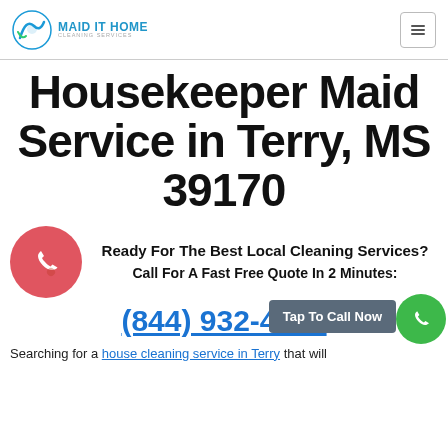MAID IT HOME CLEANING SERVICES
Housekeeper Maid Service in Terry, MS 39170
Ready For The Best Local Cleaning Services?
Call For A Fast Free Quote In 2 Minutes:
(844) 932-4117
Tap To Call Now
Searching for a house cleaning service in Terry that will